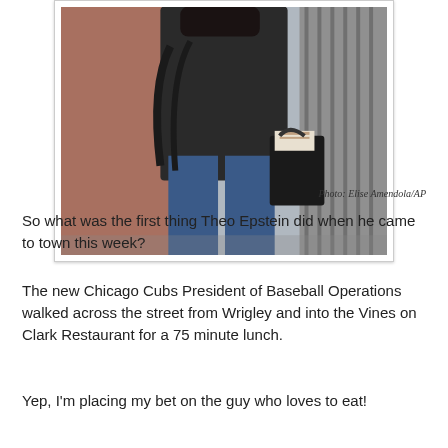[Figure (photo): A person wearing a dark jacket and blue jeans walking outdoors, carrying a black bag with what appears to be documents or a magazine tucked inside. The background shows brick and metal fence elements.]
Photo: Elise Amendola/AP
So what was the first thing Theo Epstein did when he came to town this week?
The new Chicago Cubs President of Baseball Operations walked across the street from Wrigley and into the Vines on Clark Restaurant for a 75 minute lunch.
Yep, I'm placing my bet on the guy who loves to eat!